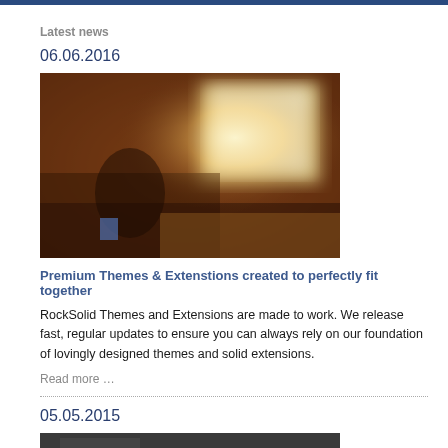Latest news
06.06.2016
[Figure (photo): Blurry interior room photo with warm amber/brown tones, bright window in background]
Premium Themes & Extenstions created to perfectly fit together
RockSolid Themes and Extensions are made to work. We release fast, regular updates to ensure you can always rely on our foundation of lovingly designed themes and solid extensions.
Read more …
05.05.2015
[Figure (photo): Partially visible dark/grey image at bottom of page]